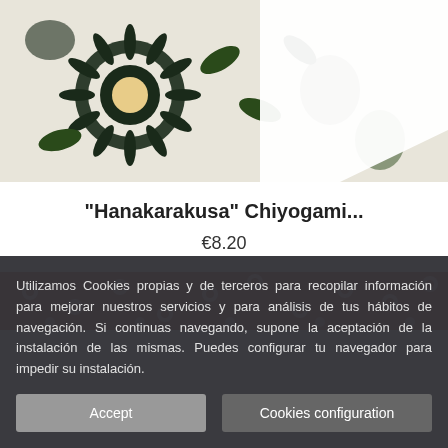[Figure (photo): Top portion of a Japanese Chiyogami paper with dark floral pattern (chrysanthemums and leaves in dark blue/green on cream background), partially covered by a white corner.]
"Hanakarakusa" Chiyogami...
€8.20
[Figure (photo): Bottom portion showing a red Japanese Chiyogami paper with white floral pattern.]
Utilizamos Cookies propias y de terceros para recopilar información para mejorar nuestros servicios y para análisis de tus hábitos de navegación. Si continuas navegando, supone la aceptación de la instalación de las mismas. Puedes configurar tu navegador para impedir su instalación.
Accept
Cookies configuration